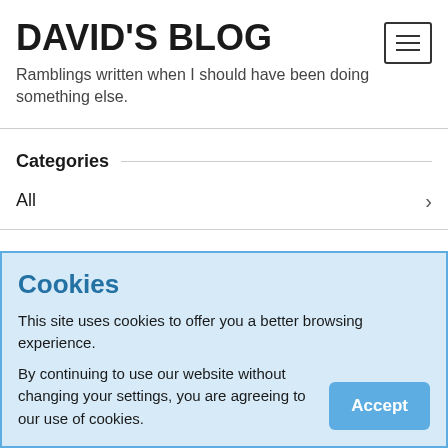DAVID'S BLOG
Ramblings written when I should have been doing something else.
Categories
All
Cars
Computers
Cookies
This site uses cookies to offer you a better browsing experience.
By continuing to use our website without changing your settings, you are agreeing to our use of cookies.